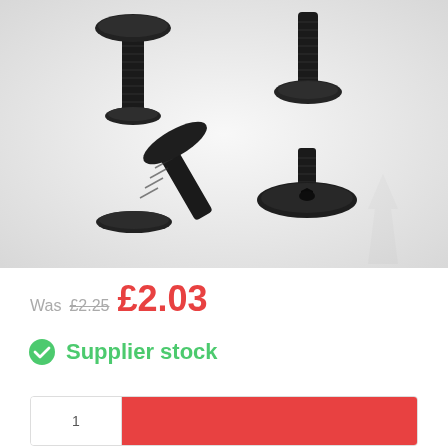[Figure (photo): Four black metal countersunk/flat-head screws with hex socket drive, arranged on a white/light grey background. Two screws are upright showing the threaded shaft, one shows the flat head from above, and one shows both shaft and head at an angle.]
Was £2.25 £2.03
Supplier stock
| [qty input] | [Add to basket button] |